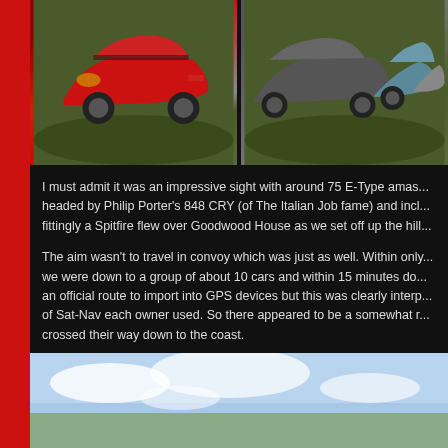[Figure (photo): Red E-Type Jaguar convertible parked on grass]
[Figure (photo): Multiple E-Type Jaguars parked in a row on grass]
I must admit it was an impressive sight with around 75 E-Type amas... headed by Philip Porter's 848 CRY (of The Italian Job fame) and incl... fittingly a Spitfire flew over Goodwood House as we set off up the hill...
The aim wasn't to travel in convoy which was just as well. Within only... we were down to a group of about 10 cars and within 15 minutes do... an official route to import into GPS devices but this was clearly interp... of Sat-Nav each owner used. So there appeared to be a somewhat r... crossed their way down to the coast.
The first stage from Goodwood to Lyme Regis
[Figure (photo): Sky with clouds, beginning of a bottom photo]